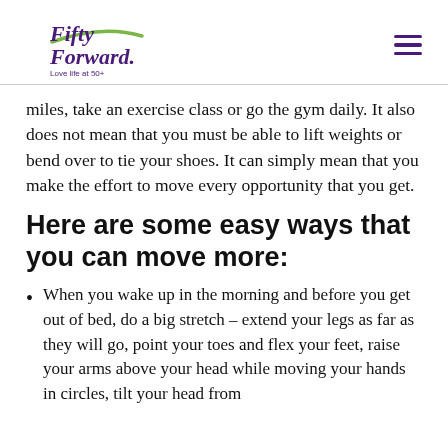Fifty Forward. Love life at 50+
miles, take an exercise class or go the gym daily. It also does not mean that you must be able to lift weights or bend over to tie your shoes. It can simply mean that you make the effort to move every opportunity that you get.
Here are some easy ways that you can move more:
When you wake up in the morning and before you get out of bed, do a big stretch – extend your legs as far as they will go, point your toes and flex your feet, raise your arms above your head while moving your hands in circles, tilt your head from